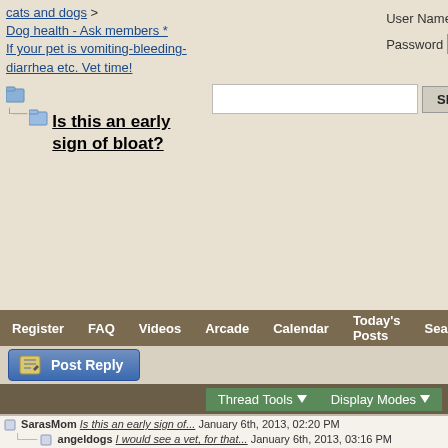cats and dogs > Dog health - Ask members * If your pet is vomiting-bleeding-diarrhea etc. Vet time!
Is this an early sign of bloat?
User Name  Password
Register  FAQ  Videos  Arcade  Calendar  Today's Posts  Search
[Figure (screenshot): Post Reply button with pencil icon]
[Figure (screenshot): Thread Tools dropdown and Display Modes dropdown toolbar]
| User | Post Title | Date |
| --- | --- | --- |
| SarasMom | Is this an early sign of... | January 6th, 2013, 02:20 PM |
| angeldogs | I would see a vet, for that... | January 6th, 2013, 03:16 PM |
| Barkingdog | If you think your dog has... | January 6th, 2013, 03:33 PM |
| Loki Love | Any deep chested dog is... | January 6th, 2013, 04:00 PM |
| Barkingdog | The dog is almost 15 yo, so... | January 6th, 2013, 07:40 PM |
| MaxaLisa | Dogs can have repeated 'bouts... | January 8th, 2013, 04: |